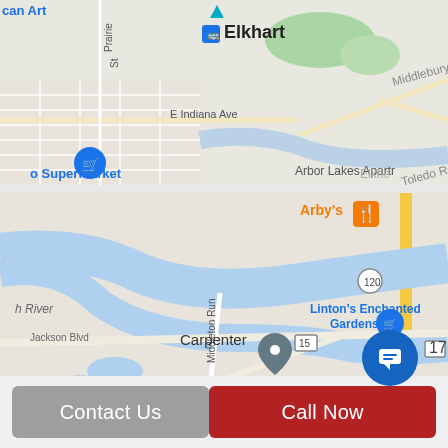[Figure (map): Google Maps screenshot showing Elkhart, Indiana area with street grid, E Indiana Ave, Middlebury St, Toledo Rd, Prairie St, and markers for a supermarket and Arbor Lakes Apartments. Blue river visible.]
[Figure (map): Google Maps screenshot showing Carpenter area south of Elkhart with St Joseph River (blue), route markers 120 and 15 and 17, Linton's Enchanted Gardens, Arby's, Jackson Blvd, Middleton Run, and a location pin at Carpenter.]
[Figure (other): Blue circular chat/message button icon in bottom right area.]
Contact Us
Call Now